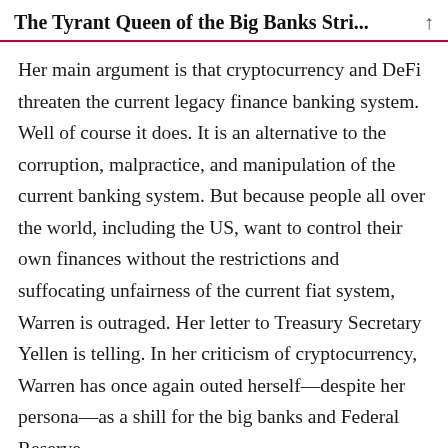The Tyrant Queen of the Big Banks Stri...
Her main argument is that cryptocurrency and DeFi threaten the current legacy finance banking system. Well of course it does. It is an alternative to the corruption, malpractice, and manipulation of the current banking system. But because people all over the world, including the US, want to control their own finances without the restrictions and suffocating unfairness of the current fiat system, Warren is outraged. Her letter to Treasury Secretary Yellen is telling. In her criticism of cryptocurrency, Warren has once again outed herself—despite her persona—as a shill for the big banks and Federal Reserve.
Advertisements